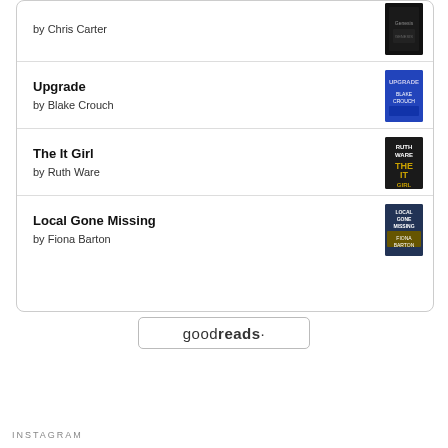by Chris Carter
Upgrade
by Blake Crouch
The It Girl
by Ruth Ware
Local Gone Missing
by Fiona Barton
[Figure (logo): Goodreads logo button with rounded rectangle border]
INSTAGRAM